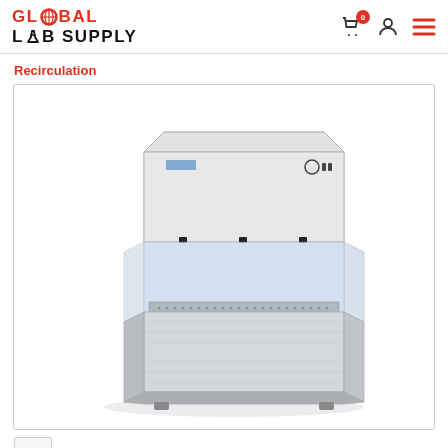Global Lab Supply
Recirculation
[Figure (photo): Laboratory laminar flow hood / recirculation clean bench with stainless steel base, grey metal top enclosure, transparent front sash panels, and blue-tinted side and back walls. The unit is open-fronted showing the interior work surface.]